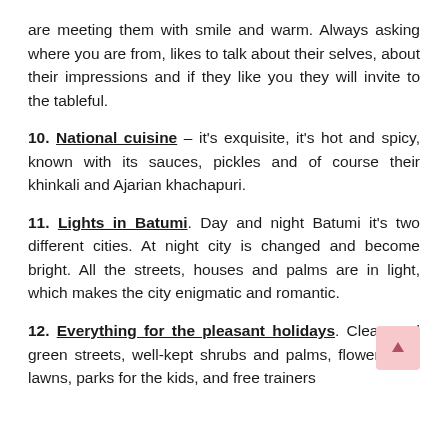are meeting them with smile and warm. Always asking where you are from, likes to talk about their selves, about their impressions and if they like you they will invite to the tableful.
10. National cuisine – it's exquisite, it's hot and spicy, known with its sauces, pickles and of course their khinkali and Ajarian khachapuri.
11. Lights in Batumi. Day and night Batumi it's two different cities. At night city is changed and become bright. All the streets, houses and palms are in light, which makes the city enigmatic and romantic.
12. Everything for the pleasant holidays. Clean and green streets, well-kept shrubs and palms, flowers and lawns, parks for the kids, and free trainers